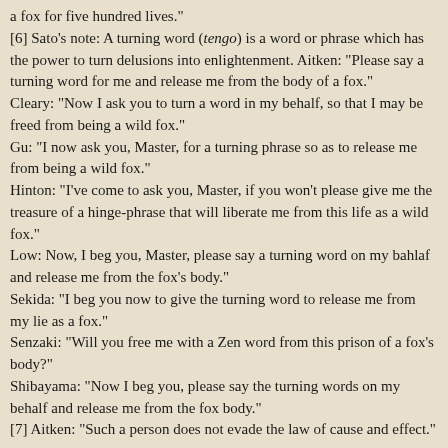a fox for five hundred lives."
[6] Sato's note: A turning word (tengo) is a word or phrase which has the power to turn delusions into enlightenment. Aitken: "Please say a turning word for me and release me from the body of a fox."
Cleary: "Now I ask you to turn a word in my behalf, so that I may be freed from being a wild fox."
Gu: "I now ask you, Master, for a turning phrase so as to release me from being a wild fox."
Hinton: "I've come to ask you, Master, if you won't please give me the treasure of a hinge-phrase that will liberate me from this life as a wild fox."
Low: Now, I beg you, Master, please say a turning word on my bahlaf and release me from the fox's body."
Sekida: "I beg you now to give the turning word to release me from my lie as a fox."
Senzaki: "Will you free me with a Zen word from this prison of a fox's body?"
Shibayama: "Now I beg you, please say the turning words on my behalf and release me from the fox body."
[7] Aitken: "Such a person does not evade the law of cause and effect."